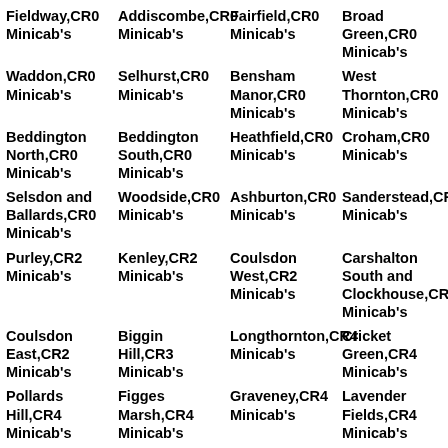Fieldway,CR0 Minicab's
Addiscombe,CR0 Minicab's
Fairfield,CR0 Minicab's
Broad Green,CR0 Minicab's
Waddon,CR0 Minicab's
Selhurst,CR0 Minicab's
Bensham Manor,CR0 Minicab's
West Thornton,CR0 Minicab's
Beddington North,CR0 Minicab's
Beddington South,CR0 Minicab's
Heathfield,CR0 Minicab's
Croham,CR0 Minicab's
Selsdon and Ballards,CR0 Minicab's
Woodside,CR0 Minicab's
Ashburton,CR0 Minicab's
Sanderstead,CR0 Minicab's
Purley,CR2 Minicab's
Kenley,CR2 Minicab's
Coulsdon West,CR2 Minicab's
Carshalton South and Clockhouse,CR2 Minicab's
Coulsdon East,CR2 Minicab's
Biggin Hill,CR3 Minicab's
Longthornton,CR4 Minicab's
Cricket Green,CR4 Minicab's
Pollards Hill,CR4 Minicab's
Figges Marsh,CR4 Minicab's
Graveney,CR4 Minicab's
Lavender Fields,CR4 Minicab's
Wandle
Norbury,CR4